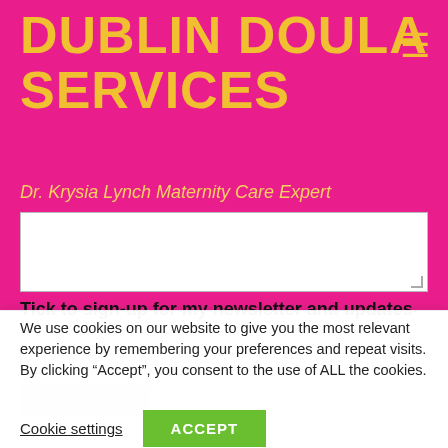DUBLIN DOULA SERVICES
Dr. Krysia Lynch Maternity Care Expert
Tick to sign-up for my newsletter and updates
Yes, I would like to receive updates
We use cookies on our website to give you the most relevant experience by remembering your preferences and repeat visits. By clicking “Accept”, you consent to the use of ALL the cookies.
Cookie settings
ACCEPT